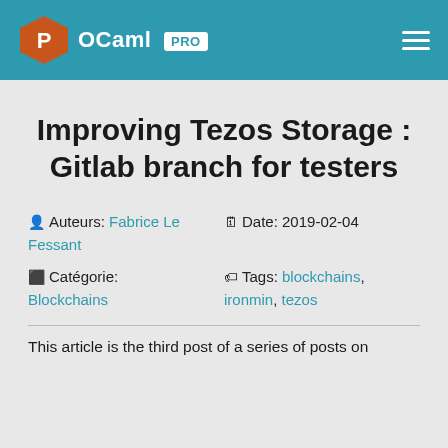OCaml PRO
Improving Tezos Storage : Gitlab branch for testers
Auteurs: Fabrice Le Fessant   Date: 2019-02-04   Catégorie: Blockchains   Tags: blockchains, ironmin, tezos
This article is the third post of a series of posts on